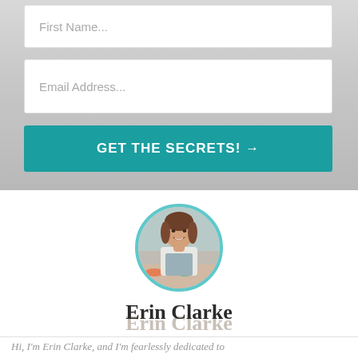First Name...
Email Address...
GET THE SECRETS! →
[Figure (photo): Circular portrait photo of Erin Clarke, a woman with brown hair, smiling, wearing a white shirt and apron, standing behind a kitchen counter with fresh vegetables. The photo has a teal/cyan circular border.]
Erin Clarke
Hi, I'm Erin Clarke, and I'm fearlessly dedicated to